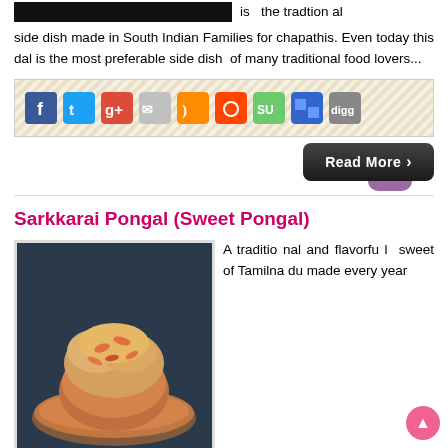is the traditional side dish made in South Indian Families for chapathis. Even today this dal is the most preferable side dish of many traditional food lovers...
[Figure (other): Social media sharing icons: Facebook, Twitter, Google+, Email, RSS, Reddit, StumbleUpon, Delicious, Digg]
Read More ›
Sarkkarai Pongal (Sweet Pongal)
[Figure (photo): Photo of Sarkkarai Pongal (Sweet Pongal) served in a copper bowl on a copper plate, showing the yellowish-orange sweet rice dish with cashews and nuts on top]
A traditional and flavorful sweet of Tamilnadu made every year during the harvest festival called 'Pongal' with newly harvested rice and fresh jagerry. It is offered to Sun God... Tributed in Village is the rice ba mi